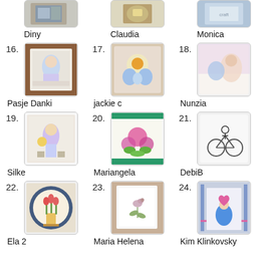[Figure (photo): Partial top row showing 3 craft card images with names Diny, Claudia, Monica]
Diny
Claudia
Monica
[Figure (photo): Entry 16: craft card image by Pasje Danki]
16. Pasje Danki
[Figure (photo): Entry 17: craft card image by jackie c]
17. jackie c
[Figure (photo): Entry 18: craft card image by Nunzia]
18. Nunzia
[Figure (photo): Entry 19: craft card image by Silke]
19. Silke
[Figure (photo): Entry 20: craft card image by Mariangela]
20. Mariangela
[Figure (photo): Entry 21: craft card image by DebiB]
21. DebiB
[Figure (photo): Entry 22: craft card image by Ela 2]
22. Ela 2
[Figure (photo): Entry 23: craft card image by Maria Helena]
23. Maria Helena
[Figure (photo): Entry 24: craft card image by Kim Klinkovsky]
24. Kim Klinkovsky